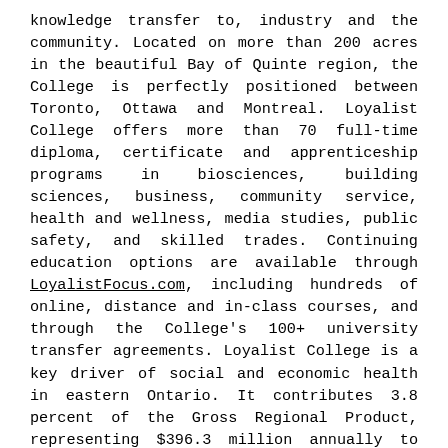knowledge transfer to, industry and the community. Located on more than 200 acres in the beautiful Bay of Quinte region, the College is perfectly positioned between Toronto, Ottawa and Montreal. Loyalist College offers more than 70 full-time diploma, certificate and apprenticeship programs in biosciences, building sciences, business, community service, health and wellness, media studies, public safety, and skilled trades. Continuing education options are available through LoyalistFocus.com, including hundreds of online, distance and in-class courses, and through the College's 100+ university transfer agreements. Loyalist College is a key driver of social and economic health in eastern Ontario. It contributes 3.8 percent of the Gross Regional Product, representing $396.3 million annually to the regional economy – based on an October 2021 report by Emsi. For more information on Loyalist College's Belleville, Bancroft and Toronto campuses and Port Hope satellite location, visit loyalistcollege.com